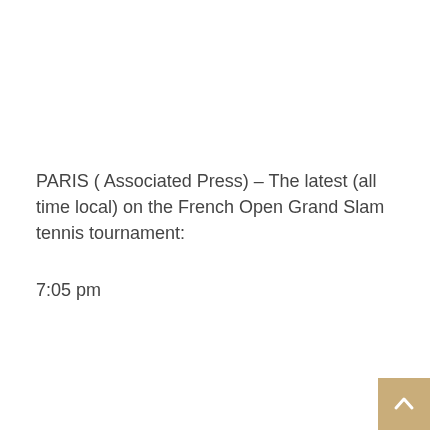PARIS ( Associated Press) – The latest (all time local) on the French Open Grand Slam tennis tournament:
7:05 pm